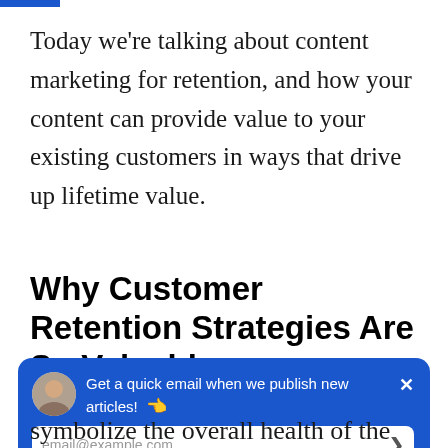Today we're talking about content marketing for retention, and how your content can provide value to your existing customers in ways that drive up lifetime value.
Why Customer Retention Strategies Are So Valuable
[Figure (infographic): Blue rounded popup banner with avatar photo, text 'Get a quick email when we publish new articles! 👈', an email input field with placeholder 'email@example.com', a submit arrow, and a close button (×).]
symbolize the overall health of the